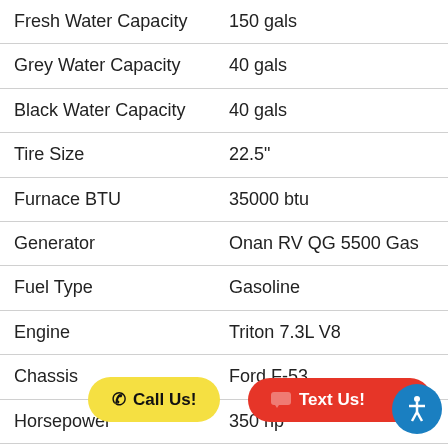| Specification | Value |
| --- | --- |
| Fresh Water Capacity | 150 gals |
| Grey Water Capacity | 40 gals |
| Black Water Capacity | 40 gals |
| Tire Size | 22.5" |
| Furnace BTU | 35000 btu |
| Generator | Onan RV QG 5500 Gas |
| Fuel Type | Gasoline |
| Engine | Triton 7.3L V8 |
| Chassis | Ford F-53 |
| Horsepower | 350 hp |
| Fuel Capacity | 80 gals |
| Wheelbase | 2 |
| Number Of Bunks | 2 |